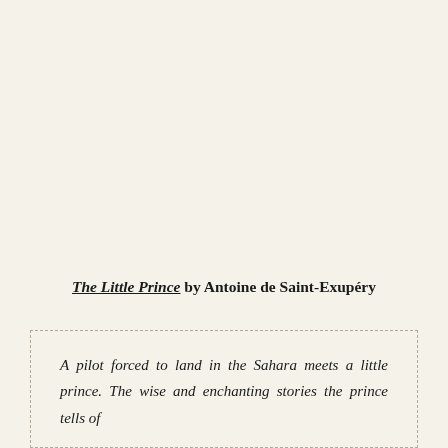The Little Prince by Antoine de Saint-Exupéry
A pilot forced to land in the Sahara meets a little prince. The wise and enchanting stories the prince tells of